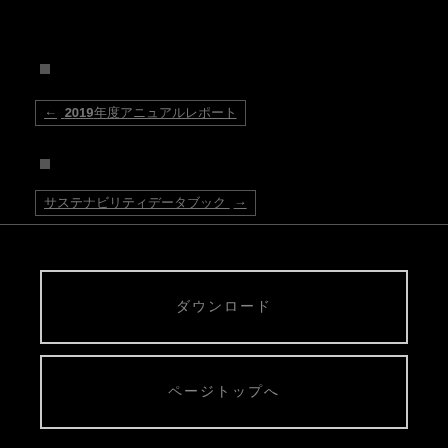□
← 2019年度アニュアルレポート
□
サステナビリティデータブック →
ダウンロード
ページトップへ